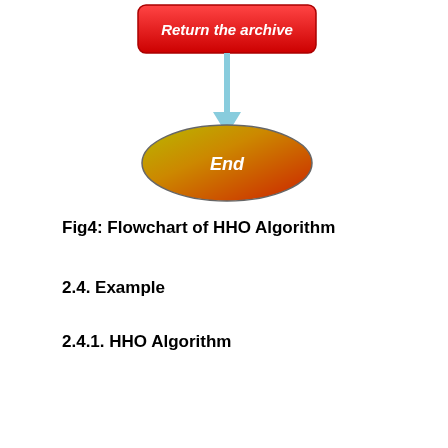[Figure (flowchart): Bottom portion of HHO Algorithm flowchart showing a red rounded rectangle labeled 'Return the archive' connected by a light blue arrow pointing down to a green/red oval labeled 'End']
Fig4: Flowchart of HHO Algorithm
2.4. Example
2.4.1. HHO Algorithm